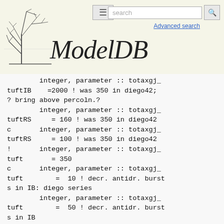ModelDB — Advanced search
integer, parameter :: totaxgj_tuftIB    =2000 ! was 350 in diego42;
? bring above percoln.?
        integer, parameter :: totaxgj_tuftRS     = 160 ! was 350 in diego42
c       integer, parameter :: totaxgj_tuftRS     = 100 ! was 350 in diego42
!       integer, parameter :: totaxgj_tuft       = 350
c       integer, parameter :: totaxgj_tuft        =  10 ! decr. antidr. bursts in IB: diego series
        integer, parameter :: totaxgj_tuft        =  50 ! decr. antidr. bursts in IB
! totaxgj_tuft for mixed gj between tuftIB (1st) and tuftRS (next)
        integer, parameter :: totaxgj_nontuftRS = 500
        integer, parameter :: totSDgj